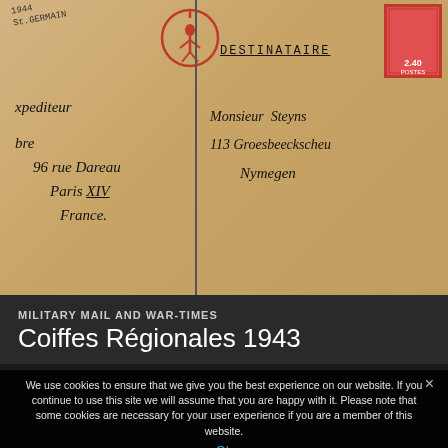[Figure (photo): A 1944 wartime postcard showing handwritten addresses. Left side (Expediteur/sender): 'xpediteur', 'bre', '96 rue Dareau', 'Paris XIV', 'France.' Right side (Destinataire/recipient): 'Monsieur Steyns', '113 Groesbeeckscheu', 'Nymegen'. A red circular postmark stamp and a red French stamp (240 value) are visible. A vertical line divides sender and recipient areas. A partial circular postmark reads '1944 St. Germain'.]
MILITARY MAIL AND WAR-TIMES
Coiffes Régionales 1943
We use cookies to ensure that we give you the best experience on our website. If you continue to use this site we will assume that you are happy with it. Please note that some cookies are necessary for your user experience if you are a member of this website.
Ok